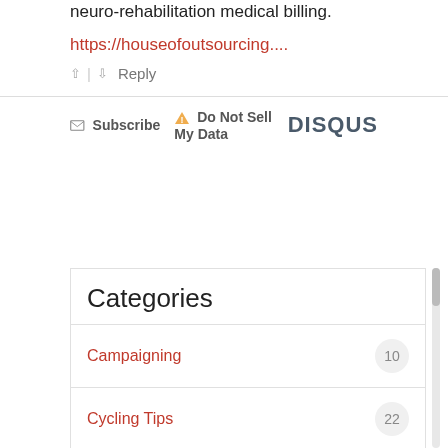neuro-immunology medical billing, sleep medicine billing, and neuro-rehabilitation medical billing.
https://houseofoutsourcing....
↑ | ↓  Reply
✉ Subscribe  ⚠ Do Not Sell My Data   DISQUS
Categories
Campaigning  10
Cycling Tips  22
Justice  10
Recovery  22